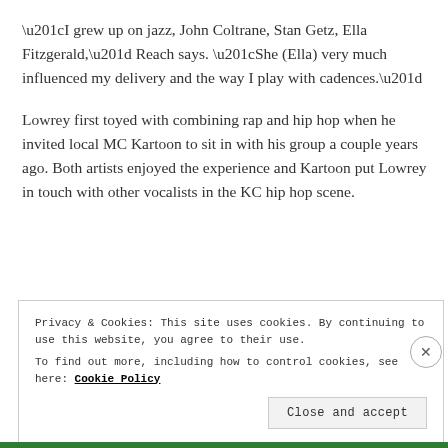“I grew up on jazz, John Coltrane, Stan Getz, Ella Fitzgerald,” Reach says. “She (Ella) very much influenced my delivery and the way I play with cadences.”
Lowrey first toyed with combining rap and hip hop when he invited local MC Kartoon to sit in with his group a couple years ago. Both artists enjoyed the experience and Kartoon put Lowrey in touch with other vocalists in the KC hip hop scene.
Privacy & Cookies: This site uses cookies. By continuing to use this website, you agree to their use.
To find out more, including how to control cookies, see here: Cookie Policy
Close and accept